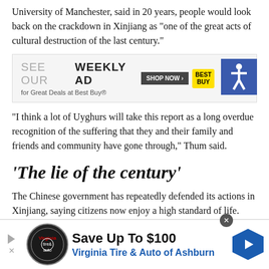University of Manchester, said in 20 years, people would look back on the crackdown in Xinjiang as “one of the great acts of cultural destruction of the last century.”
[Figure (infographic): Best Buy advertisement banner: 'SEE OUR WEEKLY AD for Great Deals at Best Buy® SHOP NOW > [Best Buy logo]' with a blue accessibility icon in the top right corner]
“I think a lot of Uyghurs will take this report as a long overdue recognition of the suffering that they and their family and friends and community have gone through,” Thum said.
‘The lie of the century’
The Chinese government has repeatedly defended its actions in Xinjiang, saying citizens now enjoy a high standard of life.
“The genocide allegation is the lie of the century, concocted by
[Figure (infographic): Virginia Tire & Auto of Ashburn advertisement: 'Save Up To $100 Virginia Tire & Auto of Ashburn' with logo and blue hexagonal arrow icon]